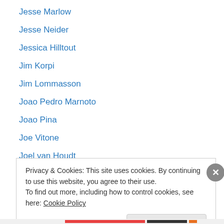Jesse Marlow
Jesse Neider
Jessica Hilltout
Jim Korpi
Jim Lommasson
Joao Pedro Marnoto
Joao Pina
Joe Vitone
Joel van Houdt
Joerg Brueggemann
Johan Bavman
John Angerson
John Loomis
Privacy & Cookies: This site uses cookies. By continuing to use this website, you agree to their use. To find out more, including how to control cookies, see here: Cookie Policy
Close and accept